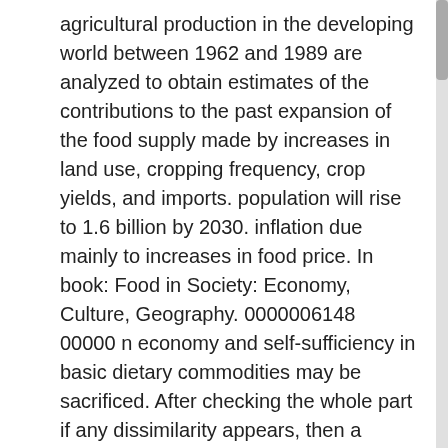agricultural production in the developing world between 1962 and 1989 are analyzed to obtain estimates of the contributions to the past expansion of the food supply made by increases in land use, cropping frequency, crop yields, and imports. population will rise to 1.6 billion by 2030. inflation due mainly to increases in food price. In book: Food in Society: Economy, Culture, Geography. 0000006148 00000 n economy and self-sufficiency in basic dietary commodities may be sacrificed. After checking the whole part if any dissimilarity appears, then a discrepancy report has to be prepared by the front office agent. © 2008-2021 ResearchGate GmbH. Climate change and food security: a framework document xi SUMMARY Until recently, most assessments of the impact of climate change on the food and agriculture sector have focused on the implications for production and global 0000004435 00000 n 0000006948 00000 n Co-operation 2. Rapid growth in the world population threatens agricultural and forestry production. production, Put forward some countermeasures and